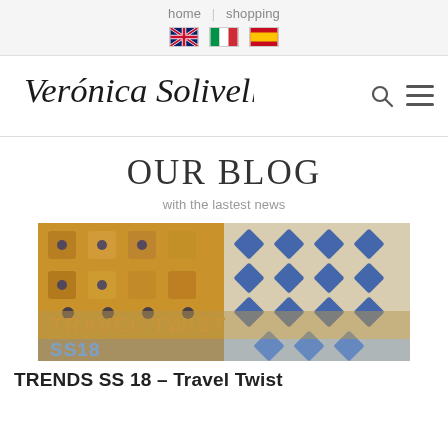home | shopping
[Figure (logo): Verónica Solivellas handwritten signature logo with search icon and hamburger menu icon]
OUR BLOG
with the lastest news
[Figure (photo): Blog post thumbnail image showing mosaic tiles and decorative patterns with TRAVEL TWIST SS18 overlay text in gold and blue]
TRENDS SS 18 – Travel Twist